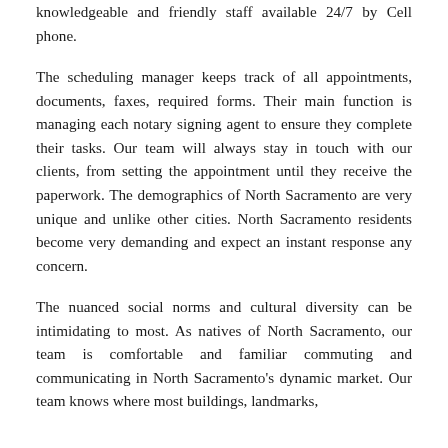knowledgeable and friendly staff available 24/7 by Cell phone.
The scheduling manager keeps track of all appointments, documents, faxes, required forms. Their main function is managing each notary signing agent to ensure they complete their tasks. Our team will always stay in touch with our clients, from setting the appointment until they receive the paperwork. The demographics of North Sacramento are very unique and unlike other cities. North Sacramento residents become very demanding and expect an instant response any concern.
The nuanced social norms and cultural diversity can be intimidating to most. As natives of North Sacramento, our team is comfortable and familiar commuting and communicating in North Sacramento's dynamic market. Our team knows where most buildings, landmarks,